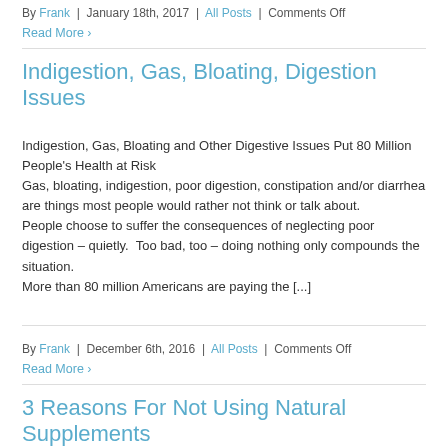By Frank | January 18th, 2017 | All Posts | Comments Off
Read More ›
Indigestion, Gas, Bloating, Digestion Issues
Indigestion, Gas, Bloating and Other Digestive Issues Put 80 Million People's Health at Risk
Gas, bloating, indigestion, poor digestion, constipation and/or diarrhea are things most people would rather not think or talk about.
People choose to suffer the consequences of neglecting poor digestion – quietly.  Too bad, too – doing nothing only compounds the situation.
More than 80 million Americans are paying the [...]
By Frank | December 6th, 2016 | All Posts | Comments Off
Read More ›
3 Reasons For Not Using Natural Supplements
3 Reasons For Not Using Natural Dietary Supplements